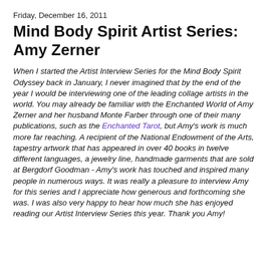Friday, December 16, 2011
Mind Body Spirit Artist Series: Amy Zerner
When I started the Artist Interview Series for the Mind Body Spirit Odyssey back in January, I never imagined that by the end of the year I would be interviewing one of the leading collage artists in the world.  You may already be familiar with the Enchanted World of Amy Zerner and her husband Monte Farber through one of their many publications, such as the Enchanted Tarot, but Amy's work is much more far reaching.  A recipient of the National Endowment of the Arts, tapestry artwork that has appeared in over 40 books in twelve different languages, a jewelry line, handmade garments that are sold at Bergdorf Goodman - Amy's work has touched and inspired many people in numerous ways.  It was really a pleasure to interview Amy for this series and I appreciate how generous and forthcoming she was.  I was also very happy to hear how much she has enjoyed reading our Artist Interview Series this year.  Thank you Amy!